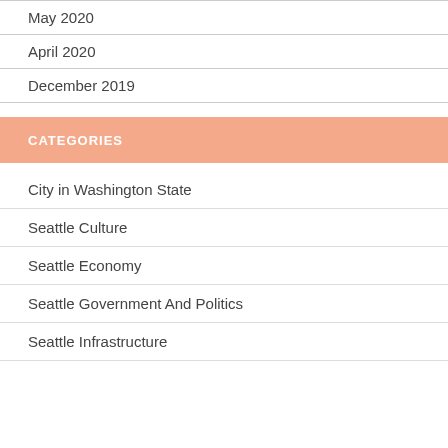May 2020
April 2020
December 2019
CATEGORIES
City in Washington State
Seattle Culture
Seattle Economy
Seattle Government And Politics
Seattle Infrastructure